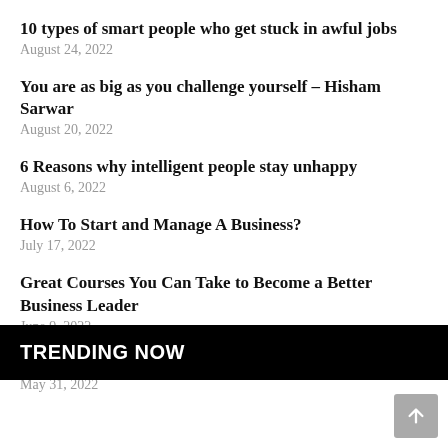10 types of smart people who get stuck in awful jobs
August 24, 2022
You are as big as you challenge yourself – Hisham Sarwar
August 20, 2022
6 Reasons why intelligent people stay unhappy
August 6, 2022
How To Start and Manage A Business?
July 17, 2022
Great Courses You Can Take to Become a Better Business Leader
June 9, 2022
Freelancing Definition – What does Freelancing mean?
May 31, 2022
TRENDING NOW